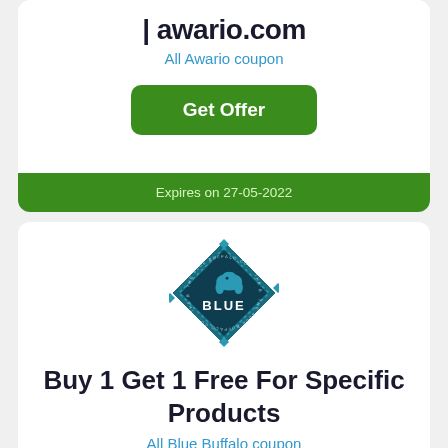| awario.com
All Awario coupon
Get Offer
Expires on 27-05-2022
[Figure (logo): Blue Buffalo diamond-shaped logo with buffalo icon and text BLUE]
Buy 1 Get 1 Free For Specific Products
All Blue Buffalo coupon